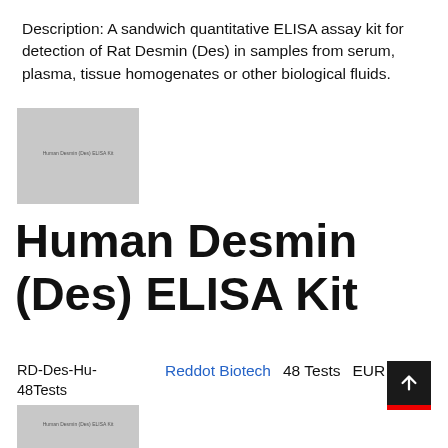Description: A sandwich quantitative ELISA assay kit for detection of Rat Desmin (Des) in samples from serum, plasma, tissue homogenates or other biological fluids.
[Figure (photo): Product image of Human Desmin (Des) ELISA Kit box - top thumbnail]
Human Desmin (Des) ELISA Kit
RD-Des-Hu-48Tests
Reddot Biotech  48 Tests  EUR 478
[Figure (photo): Product image of Human Desmin (Des) ELISA Kit box - bottom thumbnail]